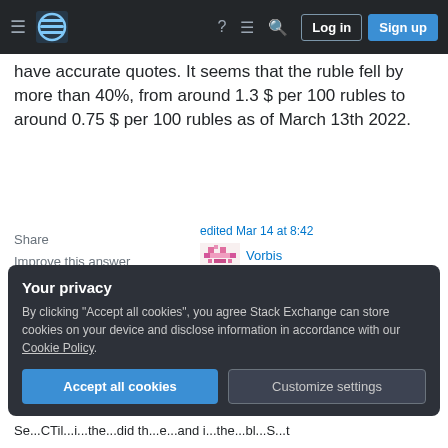Stack Exchange navigation bar with hamburger menu, logo, help, chat, search, Log in, Sign up
have accurate quotes. It seems that the ruble fell by more than 40%, from around 1.3 $ per 100 rubles to around 0.75 $ per 100 rubles as of March 13th 2022.
Share | Improve this answer | Follow
edited Mar 14 at 8:42
Vorbis
143 ● 3
answered Mar 13 at 15:14
quarague
3,487 ●1 ●9 ●21
Your privacy
By clicking "Accept all cookies", you agree Stack Exchange can store cookies on your device and disclose information in accordance with our Cookie Policy.
Accept all cookies | Customize settings
Se...CTil...i...the...did th...e...and i...the...bl...S...t